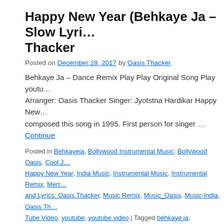Happy New Year (Behkaye Ja – Slow Lyri… Thacker
Posted on December 28, 2017 by Oasis Thacker
Behkaye Ja – Dance Remix Play Play Original Song Play youtu… Arranger: Oasis Thacker Singer: Jyotstna Hardikar Happy New… composed this song in 1995. First person for singer … Continue
Posted in Behkayeja, Bollywood Instrumental Music, Bollywood Oasis, Cool J… Happy New Year, India Music, Instrumental Music, Instrumental Remix, Merr… and Lyrics: Oasis Thacker, Music Remix, Music_Oasis, Music-India, Oasis Th… Tube Video, youtube, youtube video | Tagged behkaye ja, Ghanshyam Thakk… Remix, MP3, Oasis Thacker, youtube video | Leave a comment
Merry Christmas (The Sound of Music Th… – Oasis Thacker)
Posted on December 23, 2016 by Oasis Thacker
Merry Christmas The Sound of Music Orchestra Play Youtube V…